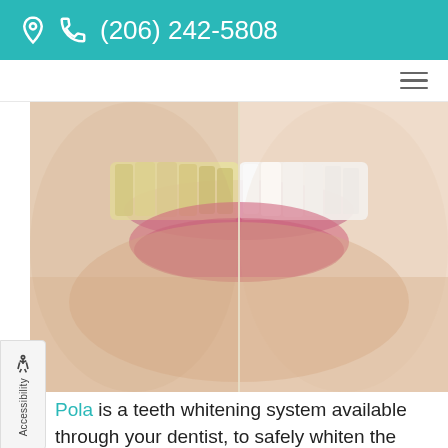(206) 242-5808
[Figure (photo): Before and after teeth whitening comparison photo showing a woman's smile — left half with yellowed teeth, right half with bright white teeth, split by a vertical line]
Pola is a teeth whitening system available through your dentist, to safely whiten the discolorations in the enamel of your teeth. Discoloration...